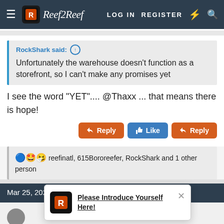Reef2Reef — LOG IN  REGISTER
RockShark said: ↑
Unfortunately the warehouse doesn't function as a storefront, so I can't make any promises yet
I see the word "YET".... @Thaxx ... that means there is hope!
Reply  Like  Reply
reefinatl, 615Bororeefer, RockShark and 1 other person
Mar 25, 2021
[Figure (screenshot): Popup notification: Please Introduce Yourself Here!]